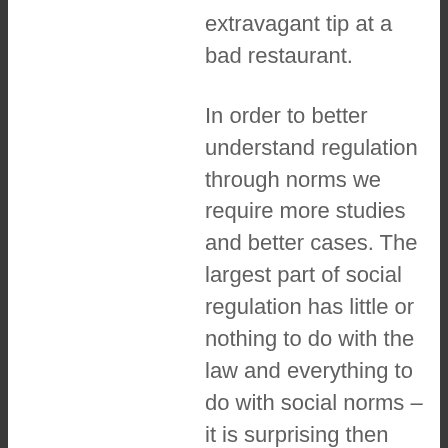extravagant tip at a bad restaurant.
In order to better understand regulation through norms we require more studies and better cases. The largest part of social regulation has little or nothing to do with the law and everything to do with social norms – it is surprising then that so little study is carried out on the topic.
Posted on May 1, 2010 by mklang
File Sharing and